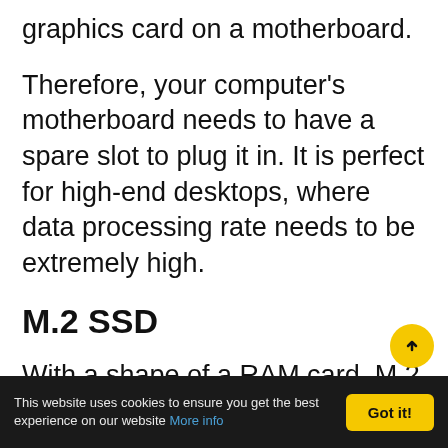graphics card on a motherboard.
Therefore, your computer's motherboard needs to have a spare slot to plug it in. It is perfect for high-end desktops, where data processing rate needs to be extremely high.
M.2 SSD
With a shape of a RAM card, M.2 SSDs are rather long and thin PCBs with NAND Flash modules. They need M.2 connector on a motherboard for plugging in. Due to their size and shape, they are perfect for slim laptop. These days, the modern
This website uses cookies to ensure you get the best experience on our website More info  Got it!